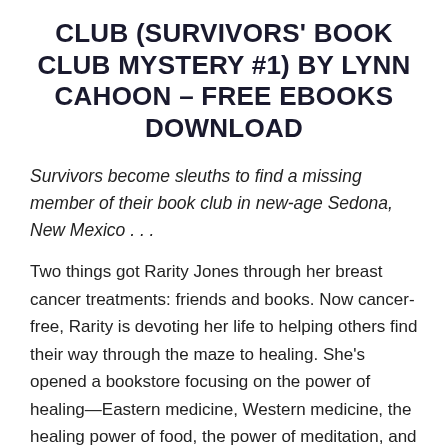CLUB (SURVIVORS' BOOK CLUB MYSTERY #1) BY LYNN CAHOON – FREE EBOOKS DOWNLOAD
Survivors become sleuths to find a missing member of their book club in new-age Sedona, New Mexico . . .
Two things got Rarity Jones through her breast cancer treatments: friends and books. Now cancer-free, Rarity is devoting her life to helping others find their way through the maze to healing. She's opened a bookstore focusing on the power of healing—Eastern medicine, Western medicine, the healing power of food, the power of meditation, and the importance of developing a support community. To that end, she's also started the